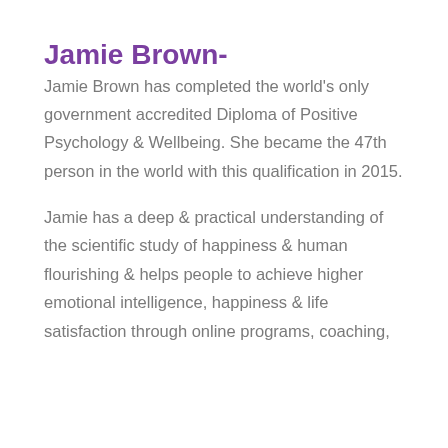Jamie Brown-
Jamie Brown has completed the world's only government accredited Diploma of Positive Psychology & Wellbeing. She became the 47th person in the world with this qualification in 2015.
Jamie has a deep & practical understanding of the scientific study of happiness & human flourishing & helps people to achieve higher emotional intelligence, happiness & life satisfaction through online programs, coaching,